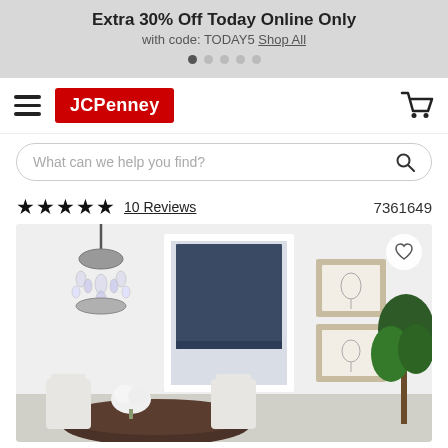Extra 30% Off Today Online Only with code: TODAY5 Shop All
[Figure (screenshot): JCPenney navigation bar with hamburger menu, JCPenney red logo, and shopping cart icon]
What can we help you find?
★★★★★ 10 Reviews  7361649
[Figure (photo): Room scene showing a dark navy blue roman shade on a window, crystal chandelier hanging on the left, two framed botanical prints on the right wall, white dining chairs and dark wood table, green fiddle leaf fig plant in the corner]